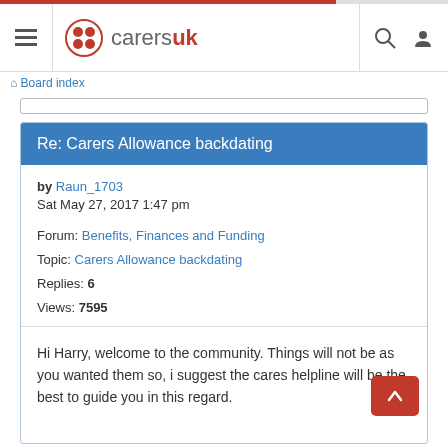carersuk
Board index
Re: Carers Allowance backdating
by Raun_1703
Sat May 27, 2017 1:47 pm
Forum: Benefits, Finances and Funding
Topic: Carers Allowance backdating
Replies: 6
Views: 7595
Hi Harry, welcome to the community. Things will not be as you wanted them so, i suggest the cares helpline will be the best to guide you in this regard.